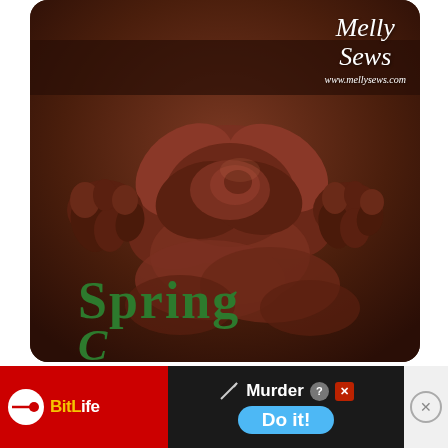[Figure (photo): Close-up photograph of chocolate brown leather roses/flowers on a dark brown background, with 'Melly Sews' branding logo in the upper right and 'Spring' text in green at the bottom. Part of a second green cursive word is visible being cut off.]
[Figure (screenshot): Advertisement banner for BitLife game at the bottom. Red section with BitLife logo on left, dark section with knife graphic, 'Murder' text and a blue 'Do it!' button in center, close X button on right.]